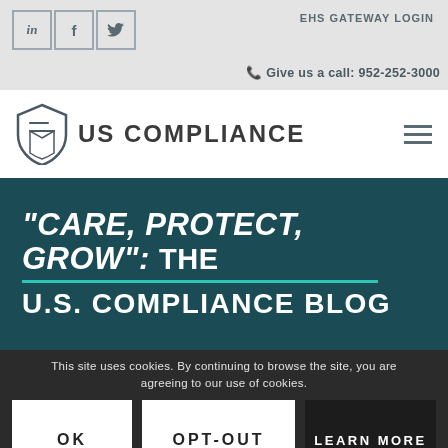EHS GATEWAY LOGIN | Give us a call: 952-252-3000
[Figure (logo): US Compliance shield logo with text US COMPLIANCE and navigation hamburger menu]
"CARE, PROTECT, GROW": THE U.S. COMPLIANCE BLOG
This site uses cookies. By continuing to browse the site, you are agreeing to our use of cookies.
OK | OPT-OUT | LEARN MORE